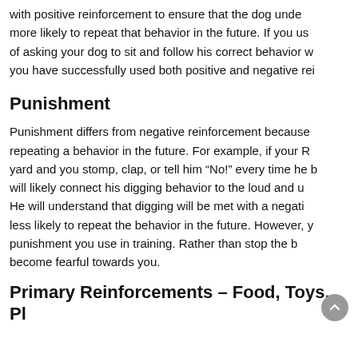with positive reinforcement to ensure that the dog unde more likely to repeat that behavior in the future. If you us of asking your dog to sit and follow his correct behavior w you have successfully used both positive and negative rei
Punishment
Punishment differs from negative reinforcement because repeating a behavior in the future. For example, if your R yard and you stomp, clap, or tell him “No!” every time he b will likely connect his digging behavior to the loud and u He will understand that digging will be met with a negati less likely to repeat the behavior in the future. However, y punishment you use in training. Rather than stop the b become fearful towards you.
Primary Reinforcements – Food, Toys, Pl